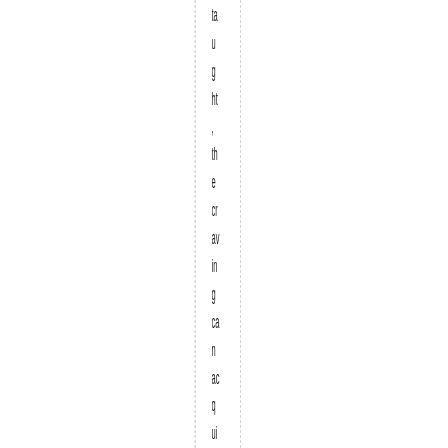taught, the craving can acquire a hold of you and you w